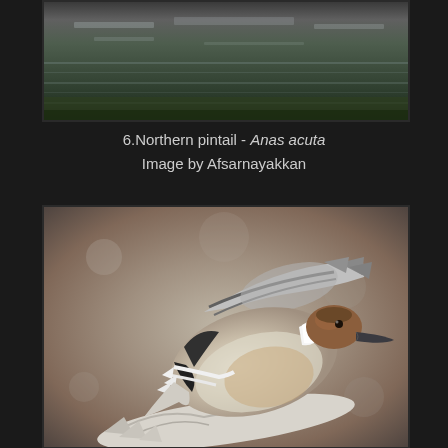[Figure (photo): Partial view of Northern pintail duck near water with reflections in background - top portion of image]
6.Northern pintail - Anas acuta
Image by Afsarnayakkan
[Figure (photo): Northern pintail (Anas acuta) duck in flight, showing wing spread, brownish-orange head, white neck stripe, and white/grey body against blurred grey-brown background]